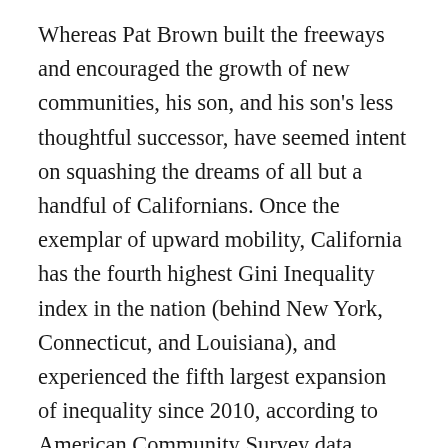Whereas Pat Brown built the freeways and encouraged the growth of new communities, his son, and his son's less thoughtful successor, have seemed intent on squashing the dreams of all but a handful of Californians. Once the exemplar of upward mobility, California has the fourth highest Gini Inequality index in the nation (behind New York, Connecticut, and Louisiana), and experienced the fifth largest expansion of inequality since 2010, according to American Community Survey data. Amidst the unfathomable wealth of the oligarchs, it suffers the country's highest rates of cost-of-living adjusted poverty, the worst housing